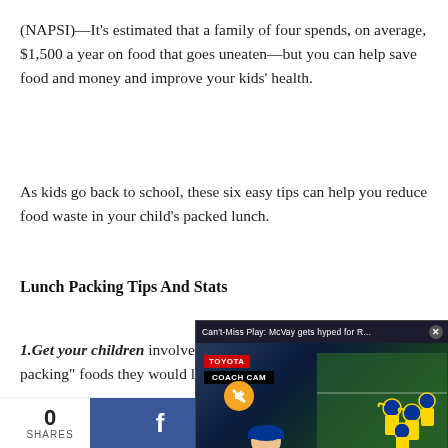(NAPSI)—It's estimated that a family of four spends, on average, $1,500 a year on food that goes uneaten—but you can help save food and money and improve your kids' health.
As kids go back to school, these six easy tips can help you reduce food waste in your child's packed lunch.
Lunch Packing Tips And Stats
[Figure (screenshot): Video overlay showing 'Can't-Miss Play: McVay gets hyped for R...' with Toyota Coach Cam branding, mute button, and NFL Rams players on field]
1.Get your children involved. Ask your children what "wish packing" foods they would like as these foods will li...
0 SHARES